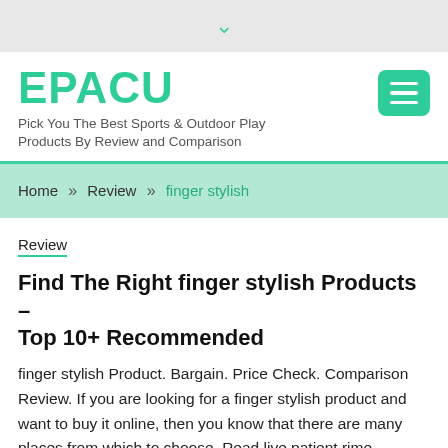▾
EPACU
Pick You The Best Sports & Outdoor Play Products By Review and Comparison
Home » Review » finger stylish
Review
Find The Right finger stylish Products – Top 10+ Recommended
finger stylish Product. Bargain. Price Check. Comparison Review. If you are looking for a finger stylish product and want to buy it online, then you know that there are many places from which to choose. Read live patient rime